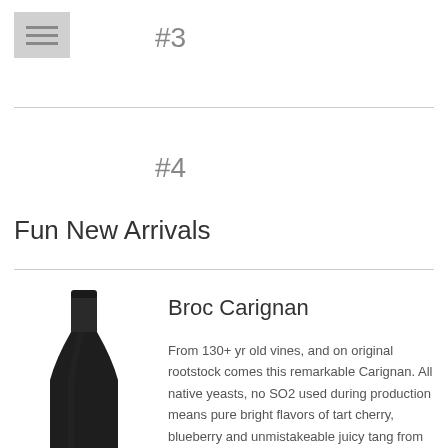[Figure (screenshot): Hamburger menu icon with three horizontal lines on a grey background]
#3
#4
Fun New Arrivals
[Figure (photo): Dark wine bottle (Broc Carignan) shown from the neck upward against a white background]
Broc Carignan
From 130+ yr old vines, and on original rootstock comes this remarkable Carignan. All native yeasts, no SO2 used during production means pure bright flavors of tart cherry, blueberry and unmistakeable juicy tang from carbonic maceration. Why spend $34 on